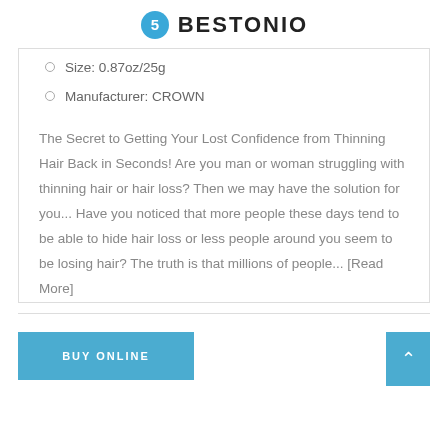BESTONIO
Size: 0.87oz/25g
Manufacturer: CROWN
The Secret to Getting Your Lost Confidence from Thinning Hair Back in Seconds! Are you man or woman struggling with thinning hair or hair loss? Then we may have the solution for you... Have you noticed that more people these days tend to be able to hide hair loss or less people around you seem to be losing hair? The truth is that millions of people... [Read More]